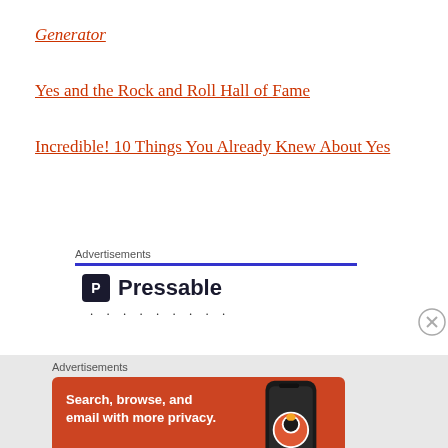Generator
Yes and the Rock and Roll Hall of Fame
Incredible! 10 Things You Already Knew About Yes
Advertisements
[Figure (logo): Pressable logo with blue horizontal rule and dots below]
Advertisements
[Figure (illustration): DuckDuckGo advertisement: orange background with phone showing DuckDuckGo logo. Text: Search, browse, and email with more privacy. All in One Free App. DuckDuckGo.]